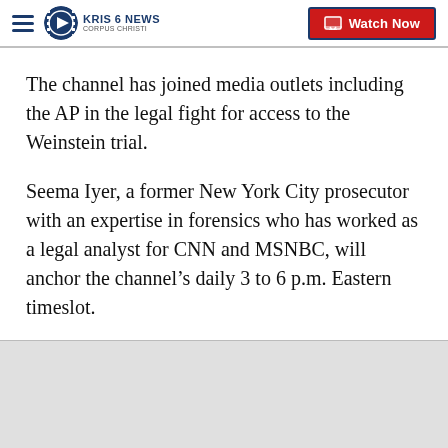KRIS 6 NEWS CORPUS CHRISTI | Watch Now
The channel has joined media outlets including the AP in the legal fight for access to the Weinstein trial.
Seema Iyer, a former New York City prosecutor with an expertise in forensics who has worked as a legal analyst for CNN and MSNBC, will anchor the channel’s daily 3 to 6 p.m. Eastern timeslot.
She said she leapt at the Court TV job for the rare chance it offers her to use her skills to talk to, and